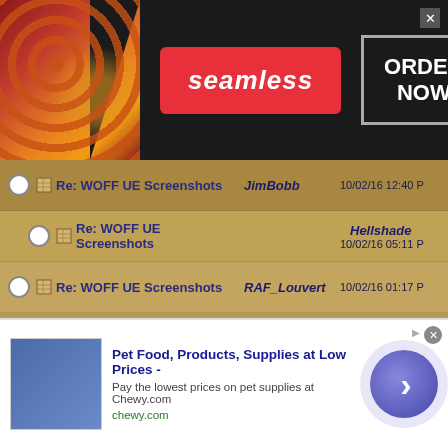[Figure (screenshot): Seamless food ordering advertisement banner with pizza image, red Seamless logo button, and ORDER NOW button on dark background]
Re: WOFF UE Screenshots | JimBobb | 10/02/16 12:40 P
Re: WOFF UE Screenshots | Hellshade | 10/02/16 05:11 P
Re: WOFF UE Screenshots | RAF_Louvert | 10/02/16 01:17 P
Re: WOFF UE Screenshots | Adger | 10/02/16 01:43 P
Re: WOFF UE Screenshots | dutch | 10/02/16 02:45 P
Re: WOFF UE Screenshots | OvStachel | 10/02/16 01:48 P
Re: WOFF UE Screenshots | Olham | 10/02/16 02:02 P
Re: WOFF UE Screenshots | OvStachel | 10/02/16 03:21 P
Re: WOFF UE Screenshots | Raine | 10/02/16 05:33 P
[Figure (screenshot): Chewy.com pet food advertisement banner with blue image, bold title 'Pet Food, Products, Supplies at Low Prices -', subtitle and blue arrow button]